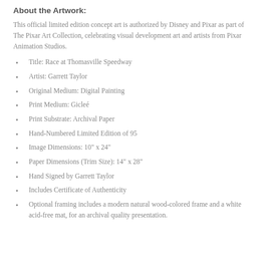About the Artwork:
This official limited edition concept art is authorized by Disney and Pixar as part of The Pixar Art Collection, celebrating visual development art and artists from Pixar Animation Studios.
Title: Race at Thomasville Speedway
Artist: Garrett Taylor
Original Medium: Digital Painting
Print Medium: Gicleé
Print Substrate: Archival Paper
Hand-Numbered Limited Edition of 95
Image Dimensions: 10" x 24"
Paper Dimensions (Trim Size): 14" x 28"
Hand Signed by Garrett Taylor
Includes Certificate of Authenticity
Optional framing includes a modern natural wood-colored frame and a white acid-free mat, for an archival quality presentation.